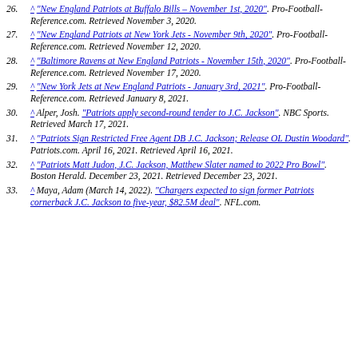^ "New England Patriots at Buffalo Bills – November 1st, 2020". Pro-Football-Reference.com. Retrieved November 3, 2020.
^ "New England Patriots at New York Jets - November 9th, 2020". Pro-Football-Reference.com. Retrieved November 12, 2020.
^ "Baltimore Ravens at New England Patriots - November 15th, 2020". Pro-Football-Reference.com. Retrieved November 17, 2020.
^ "New York Jets at New England Patriots - January 3rd, 2021". Pro-Football-Reference.com. Retrieved January 8, 2021.
^ Alper, Josh. "Patriots apply second-round tender to J.C. Jackson". NBC Sports. Retrieved March 17, 2021.
^ "Patriots Sign Restricted Free Agent DB J.C. Jackson; Release OL Dustin Woodard". Patriots.com. April 16, 2021. Retrieved April 16, 2021.
^ "Patriots Matt Judon, J.C. Jackson, Matthew Slater named to 2022 Pro Bowl". Boston Herald. December 23, 2021. Retrieved December 23, 2021.
^ Maya, Adam (March 14, 2022). "Chargers expected to sign former Patriots cornerback J.C. Jackson to five-year, $82.5M deal". NFL.com.